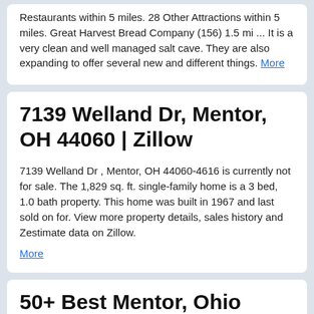Restaurants within 5 miles. 28 Other Attractions within 5 miles. Great Harvest Bread Company (156) 1.5 mi ... It is a very clean and well managed salt cave. They are also expanding to offer several new and different things. More
7139 Welland Dr, Mentor, OH 44060 | Zillow
7139 Welland Dr , Mentor, OH 44060-4616 is currently not for sale. The 1,829 sq. ft. single-family home is a 3 bed, 1.0 bath property. This home was built in 1967 and last sold on for. View more property details, sales history and Zestimate data on Zillow. More
50+ Best Mentor, Ohio images |